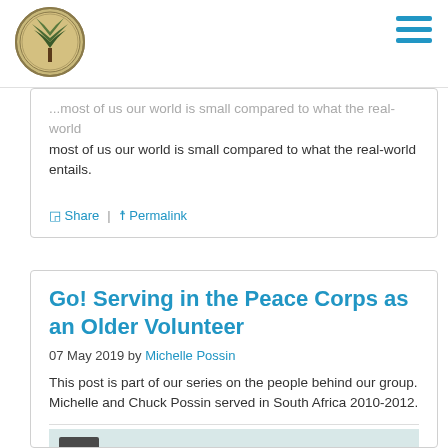Site logo and navigation menu
...most of us our world is small compared to what the real-world entails.
Share | Permalink
Go! Serving in the Peace Corps as an Older Volunteer
07 May 2019 by Michelle Possin
This post is part of our series on the people behind our group. Michelle and Chuck Possin served in South Africa 2010-2012.
[Figure (photo): Photo of person partially visible at the bottom of the page]